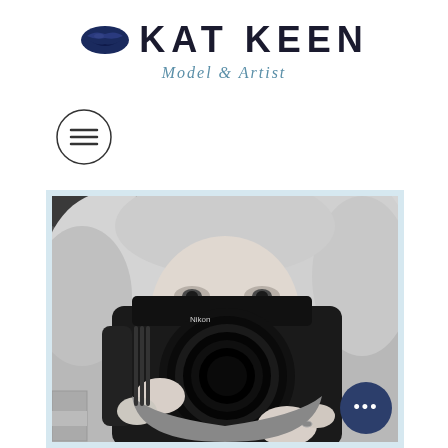[Figure (logo): Kat Keen Model & Artist logo with dark blue lips icon and bold uppercase text]
[Figure (other): Hamburger menu button icon inside a circle]
[Figure (photo): Black and white photograph of a woman with blonde hair holding a Nikon camera up to her face, looking through the viewfinder]